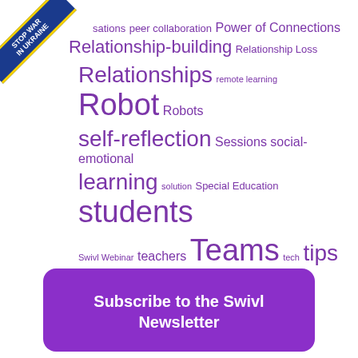[Figure (infographic): Tag cloud with education-related terms in varying sizes and purple color, with a 'Stop War in Ukraine' banner ribbon in the top-left corner.]
conversations peer collaboration Power of Connections Relationship-building Relationship Loss Relationships remote learning Robot Robots self-reflection Sessions social-emotional learning solution Special Education students Swivl Webinar teachers Teams tech tips user story video coaching videos
Subscribe to the Swivl Newsletter